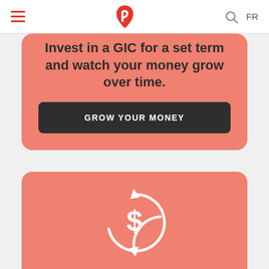≡  [logo]  🔍  FR
Invest in a GIC for a set term and watch your money grow over time.
GROW YOUR MONEY
[Figure (illustration): Circular arrow icon with dollar sign, representing money growth/renewal]
Rates for reaching your goals faster.